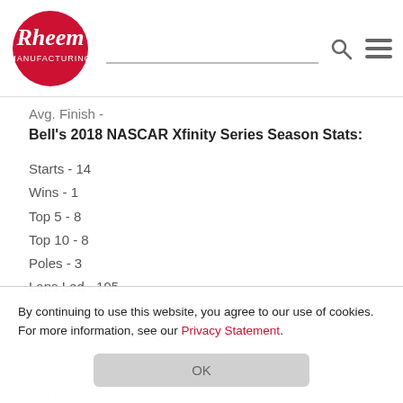Rheem logo, search bar, search icon, hamburger menu
Avg. Finish -
Bell's 2018 NASCAR Xfinity Series Season Stats:
Starts - 14
Wins - 1
Top 5 - 8
Top 10 - 8
Poles - 3
Laps Led - 195
Avg. Start - 13/5 (partially visible)
Avg. (partially visible)
Bell's Career (partially visible)
Starts - 22
Wins - 2
Top 5 - 11
Top 10 - 13
Poles - 4
By continuing to use this website, you agree to our use of cookies. For more information, see our Privacy Statement.